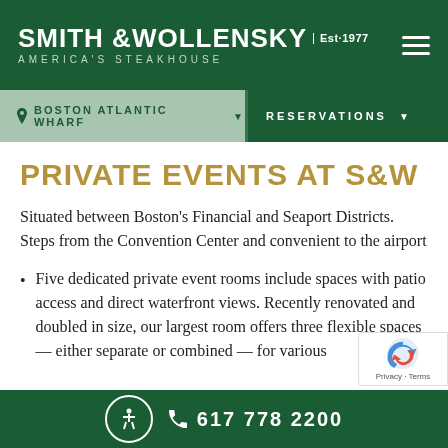[Figure (logo): Smith & Wollensky logo — America's Steakhouse, Est. 1977, white text on dark green background with hamburger menu icon]
BOSTON ATLANTIC WHARF  |  RESERVATIONS
PRIVATE EVENTS AT S&W
Situated between Boston's Financial and Seaport Districts. Steps from the Convention Center and convenient to the airport
Five dedicated private event rooms include spaces with patio access and direct waterfront views. Recently renovated and doubled in size, our largest room offers three flexible spaces — either separate or combined — for various
617 778 2200